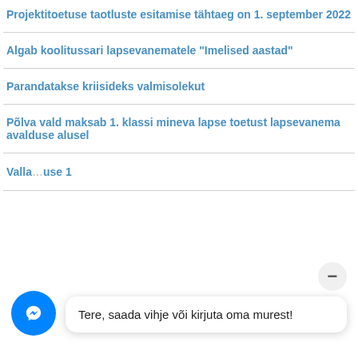Projektitoetuse taotluste esitamise tähtaeg on 1. september 2022
Algab koolitussari lapsevanematele "Imelised aastad"
Parandatakse kriisideks valmisolekut
Põlva vald maksab 1. klassi mineva lapse toetust lapsevanema avalduse alusel
Valla… [use 1…]
Tere, saada vihje või kirjuta oma murest!